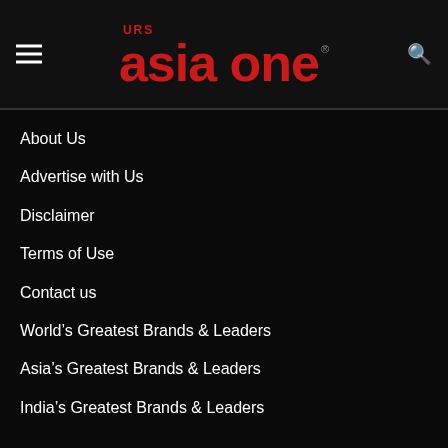URS Asia One
About Us
Advertise with Us
Disclaimer
Terms of Use
Contact us
World's Greatest Brands & Leaders
Asia's Greatest Brands & Leaders
India's Greatest Brands & Leaders
CONTACT INFO